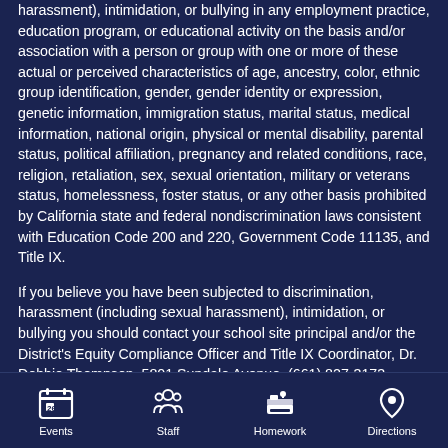harassment), intimidation, or bullying in any employment practice, education program, or educational activity on the basis and/or association with a person or group with one or more of these actual or perceived characteristics of age, ancestry, color, ethnic group identification, gender, gender identity or expression, genetic information, immigration status, marital status, medical information, national origin, physical or mental disability, parental status, political affiliation, pregnancy and related conditions, race, religion, retaliation, sex, sexual orientation, military or veterans status, homelessness, foster status, or any other basis prohibited by California state and federal nondiscrimination laws consistent with Education Code 200 and 220, Government Code 11135, and Title IX.
If you believe you have been subjected to discrimination, harassment (including sexual harassment), intimidation, or bullying you should contact your school site principal and/or the District's Equity Compliance Officer and Title IX Coordinator, Dr. Debbie Thompson, 5801 Sundale Avenue, (661) 827-3173, debbie_thompson@kernhigh.org, and/or Section 504 Coordinator, Jim Bennett, SELPA Director, 5801 Sundale Avenue, (661) 827-3100, jim_bennett@kernhigh.org. A copy of KUSD's Uniform Complaint
Events  Staff  Homework  Directions